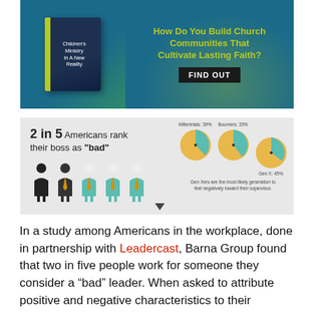[Figure (illustration): Advertisement banner for a children's ministry book on teal/blue background. Left side shows book cover 'Children's Ministry In A New Reality'. Right side shows yellow text 'How Do You Build Church Communities That Cultivate Lasting Faith?' and a dark button reading 'FIND OUT'.]
[Figure (infographic): Infographic showing '2 in 5 Americans rank their boss as bad'. Left side shows 5 silhouetted figures (2 dark, 3 teal). Right side shows three pie charts for Millennials 39%, Boomers 35%, and Gen X 45% with caption 'Gen Xers are the most likely generation to feel negatively toward their supervisor.']
In a study among Americans in the workplace, done in partnership with Leadercast, Barna Group found that two in five people work for someone they consider a “bad” leader. When asked to attribute positive and negative characteristics to their